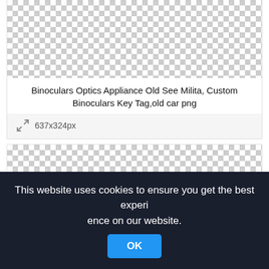[Figure (other): Checkerboard transparency pattern placeholder for an image (top card)]
Binoculars Optics Appliance Old See Milita, Custom Binoculars Key Tag,old car png
637x324px
[Figure (other): Checkerboard transparency pattern placeholder for a second image (bottom card)]
This website uses cookies to ensure you get the best experience on our website.